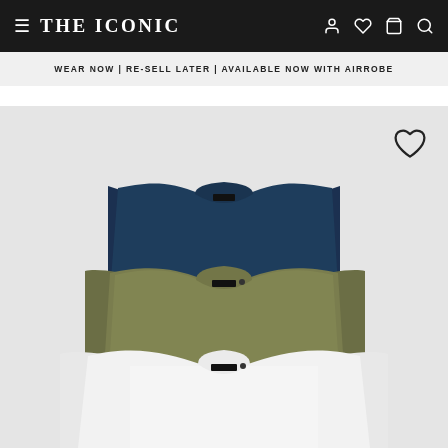THE ICONIC
WEAR NOW | RE-SELL LATER | AVAILABLE NOW WITH AIRROBE
[Figure (photo): Three stacked plain t-shirts displayed on a light grey background: navy blue on top, olive/khaki green in the middle, white on the bottom. Each has a small branded label at the neckline.]